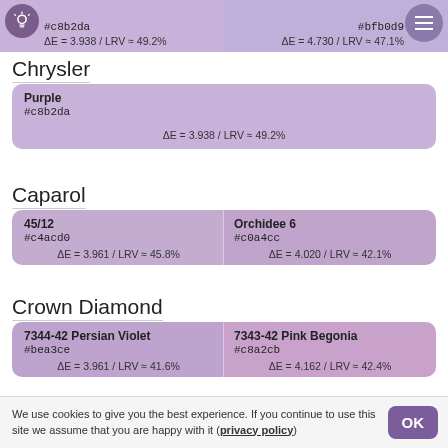[Figure (other): Top strip showing two color swatches: left #c8b2da with ΔE=3.938/LRV≈49.2%, right #bfb0d9 with ΔE=4.730/LRV≈47.1%. Light bulb icon on left, menu icon on right.]
Chrysler
| Purple | #c8b2da | ΔE = 3.938 / LRV ≈ 49.2% |
Caparol
| 45/12 | #c4acd0 | ΔE = 3.961 / LRV ≈ 45.8% |
| Orchidee 6 | #c0a4cc | ΔE = 4.020 / LRV ≈ 42.1% |
Crown Diamond
| 7344-42 Persian Violet | #bea3ce | ΔE = 3.961 / LRV ≈ 41.6% |
| 7343-42 Pink Begonia | #c8a2cb | ΔE = 4.162 / LRV ≈ 42.4% |
We use cookies to give you the best experience. If you continue to use this site we assume that you are happy with it (privacy policy)